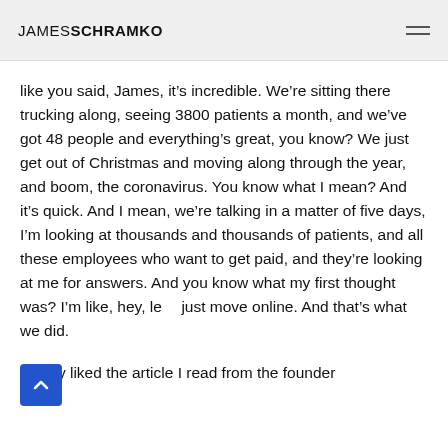JAMESSCHRAMKO
like you said, James, it's incredible. We're sitting there trucking along, seeing 3800 patients a month, and we've got 48 people and everything's great, you know? We just get out of Christmas and moving along through the year, and boom, the coronavirus. You know what I mean? And it's quick. And I mean, we're talking in a matter of five days, I'm looking at thousands and thousands of patients, and all these employees who want to get paid, and they're looking at me for answers. And you know what my first thought was? I'm like, hey, let's just move online. And that's what we did.
I really liked the article I read from the founder